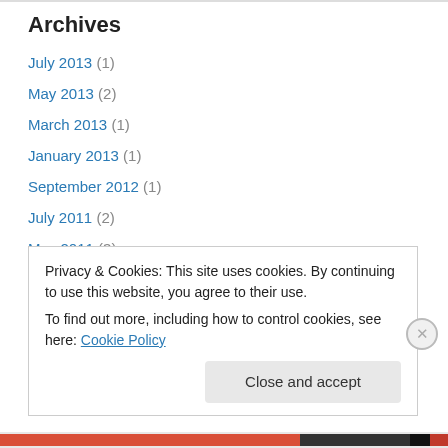Archives
July 2013 (1)
May 2013 (2)
March 2013 (1)
January 2013 (1)
September 2012 (1)
July 2011 (2)
May 2011 (3)
April 2011 (6)
March 2011 (2)
February 2011 (6)
Privacy & Cookies: This site uses cookies. By continuing to use this website, you agree to their use. To find out more, including how to control cookies, see here: Cookie Policy
Close and accept